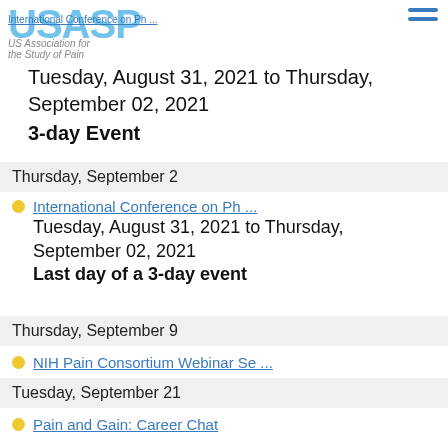USASP | US Association for the Study of Pain
International Conference on Ph ...
Tuesday, August 31, 2021 to Thursday, September 02, 2021
3-day Event
Thursday, September 2
International Conference on Ph ...
Tuesday, August 31, 2021 to Thursday, September 02, 2021
Last day of a 3-day event
Thursday, September 9
NIH Pain Consortium Webinar Se ...
Tuesday, September 21
Pain and Gain: Career Chat